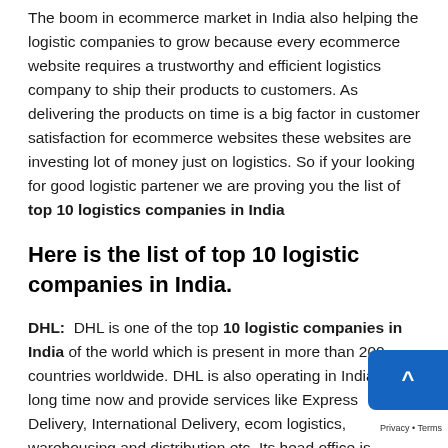The boom in ecommerce market in India also helping the logistic companies to grow because every ecommerce website requires a trustworthy and efficient logistics company to ship their products to customers. As delivering the products on time is a big factor in customer satisfaction for ecommerce websites these websites are investing lot of money just on logistics. So if your looking for good logistic partener we are proving you the list of top 10 logistics companies in India
Here is the list of top 10 logistic companies in India.
DHL: DHL is one of the top 10 logistic companies in India of the world which is present in more than 200 countries worldwide. DHL is also operating in India from long time now and provide services like Express Delivery, International Delivery, ecom logistics, warehousing and distribution etc. Its head office is situated in Navi Mumbai, Maharashtra. DHL has more than